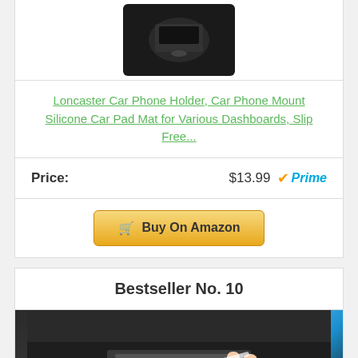[Figure (photo): Black silicone car phone holder/pad mat product image on white background]
Loncaster Car Phone Holder, Car Phone Mount Silicone Car Pad Mat for Various Dashboards, Slip Free...
Price: $13.99 Prime
Buy On Amazon
Bestseller No. 10
[Figure (photo): Hand cleaning car air vent with blue slime/gel cleaning compound]